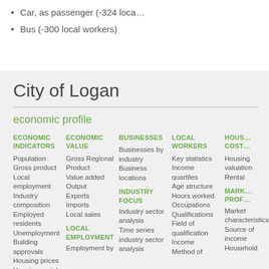Car, as passenger (-324 loca…
Bus (-300 local workers)
City of Logan
economic profile
ECONOMIC INDICATORS
Population
Gross product
Local employment
Industry composition
Employed residents
Unemployment
Building approvals
Housing prices
Housing rental
Retail trade
ECONOMIC VALUE
Gross Regional Product
Value added
Output
Exports
Imports
Local sales

LOCAL EMPLOYMENT
Employment by
BUSINESSES
Businesses by industry
Business locations

INDUSTRY FOCUS
Industry sector analysis
Time series industry sector analysis
LOCAL WORKERS
Key statistics
Income quartiles
Age structure
Hours worked
Occupations
Qualifications
Field of qualification
Income
Method of
HOUS…
COST…
Housing valuation
Rental

MARK…
PROF…
Market characteristics
Source of income
Household